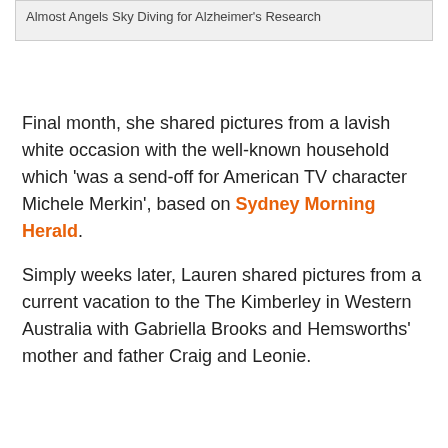Almost Angels Sky Diving for Alzheimer's Research
Final month, she shared pictures from a lavish white occasion with the well-known household which 'was a send-off for American TV character Michele Merkin', based on Sydney Morning Herald.
Simply weeks later, Lauren shared pictures from a current vacation to the The Kimberley in Western Australia with Gabriella Brooks and Hemsworths' mother and father Craig and Leonie.